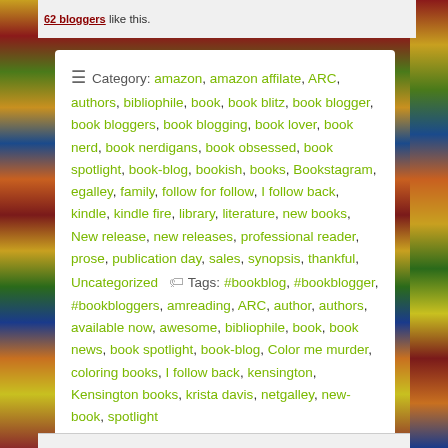62 bloggers like this.
Category: amazon, amazon affilate, ARC, authors, bibliophile, book, book blitz, book blogger, book bloggers, book blogging, book lover, book nerd, book nerdigans, book obsessed, book spotlight, book-blog, bookish, books, Bookstagram, egalley, family, follow for follow, I follow back, kindle, kindle fire, library, literature, new books, New release, new releases, professional reader, prose, publication day, sales, synopsis, thankful, Uncategorized   Tags: #bookblog, #bookblogger, #bookbloggers, amreading, ARC, author, authors, available now, awesome, bibliophile, book, book news, book spotlight, book-blog, Color me murder, coloring books, I follow back, kensington, Kensington books, krista davis, netgalley, new-book, spotlight